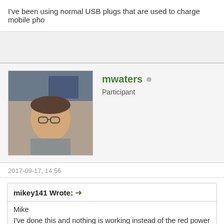I've been using normal USB plugs that are used to charge mobile pho
mwaters  Participant
2017-09-17, 14:56
mikey141 Wrote: → Mike I've done this and nothing is working instead of the red power light a I've been using normal USB plugs that are used to charge mobile p
What is your power supply?
Regards